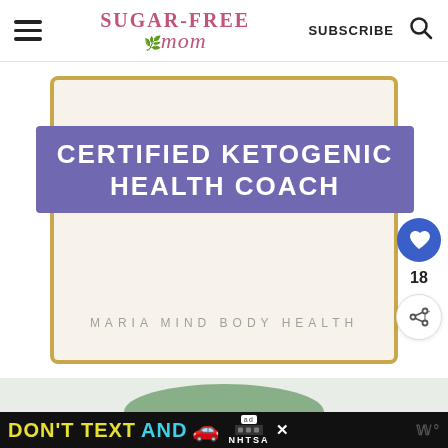Sugar-Free Mom | SUBSCRIBE
[Figure (illustration): Certified Ketogenic Health Coach certificate card with purple banner overlay reading CERTIFIED KETOGENIC HEALTH COACH and text MARIA MIND BODY HEALTH below]
18
[Figure (photo): Partial image of green rounded shape at bottom of page]
[Figure (infographic): Advertisement banner: DON'T TEXT AND [car emoji] with NHTSA logo and ad badge]